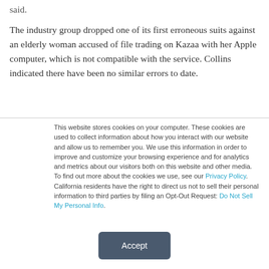said.
The industry group dropped one of its first erroneous suits against an elderly woman accused of file trading on Kazaa with her Apple computer, which is not compatible with the service. Collins indicated there have been no similar errors to date.
This website stores cookies on your computer. These cookies are used to collect information about how you interact with our website and allow us to remember you. We use this information in order to improve and customize your browsing experience and for analytics and metrics about our visitors both on this website and other media. To find out more about the cookies we use, see our Privacy Policy. California residents have the right to direct us not to sell their personal information to third parties by filing an Opt-Out Request: Do Not Sell My Personal Info.
Accept